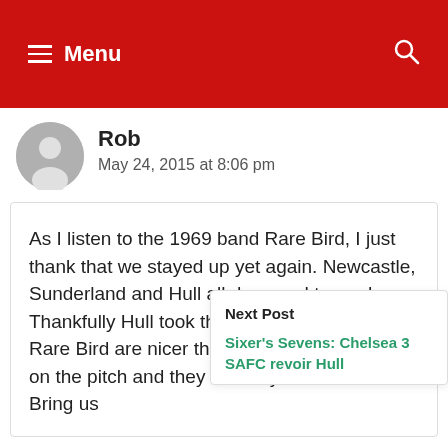Menu
Rob
May 24, 2015 at 8:06 pm
As I listen to the 1969 band Rare Bird, I just thank that we stayed up yet again. Newcastle, Sunderland and Hull all deserved to go down. Thankfully Hull took the final place.
Rare Bird are nicer than Sunderland's game on the pitch and they are 45 years old. C'mon. Bring us
Next Post
Sixer's Sevens: Chelsea 3 SAFC revoir Hull